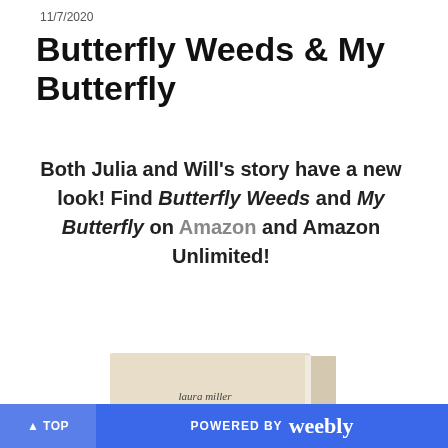11/7/2020
Butterfly Weeds & My Butterfly
Both Julia and Will's story have a new look! Find Butterfly Weeds and My Butterfly on Amazon and Amazon Unlimited!
[Figure (photo): Book cover photo showing a book lying face down with spine visible, author name 'laura miller' and 'NATIONAL BEST-SELLING AUTHOR' text visible on the spine/cover]
▲ TOP   POWERED BY weebly